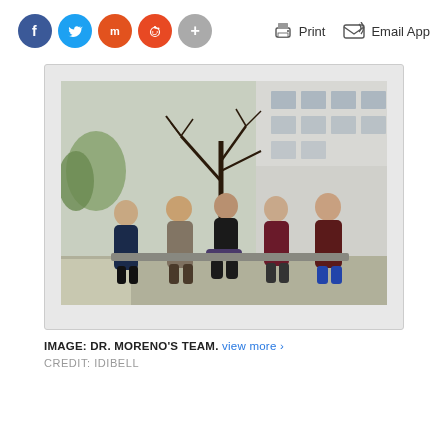[Figure (other): Social media sharing buttons: Facebook (blue), Twitter (light blue), Mix (orange), Reddit (red-orange), Plus (gray)]
[Figure (other): Print and Email App action icons with labels]
[Figure (photo): Group photo of Dr. Moreno's team: five people (four women and one man) standing and sitting outdoors in front of a modern white building with a bare tree in the background.]
IMAGE: DR. MORENO'S TEAM. view more >
CREDIT: IDIBELL